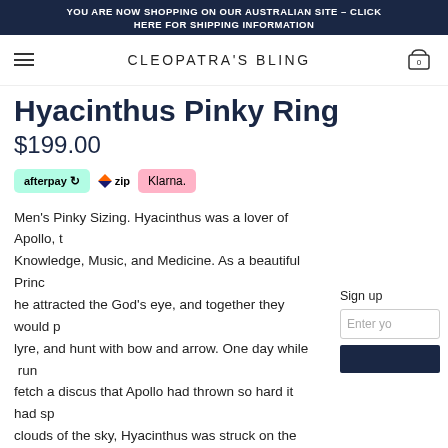YOU ARE NOW SHOPPING ON OUR AUSTRALIAN SITE - CLICK HERE FOR SHIPPING INFORMATION
CLEOPATRA'S BLING
Hyacinthus Pinky Ring
$199.00
[Figure (logo): Payment method badges: afterpay, zip, Klarna]
Men's Pinky Sizing. Hyacinthus was a lover of Apollo, the God of Knowledge, Music, and Medicine. As a beautiful Prince, he attracted the God's eye, and together they would play lyre, and hunt with bow and arrow. One day while run fetch a discus that Apollo had thrown so hard it had sp clouds of the sky, Hyacinthus was struck on the head, Apollo could not revive him, even with all his medical k He cried over the drops of Hyachinthus' blood which s the ground, and there grew the blue flowers we now c name. It is said that the flowers that appeared had the AI" written on their petals, which signified Apollo's sorrow